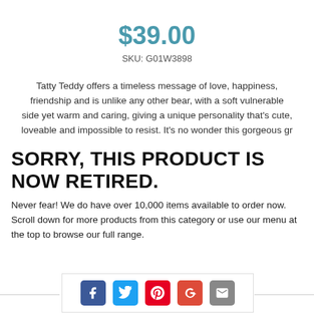$39.00
SKU: G01W3898
Tatty Teddy offers a timeless message of love, happiness, friendship and is unlike any other bear, with a soft vulnerable side yet warm and caring, giving a unique personality that’s cute, loveable and impossible to resist. It's no wonder this gorgeous gr
SORRY, THIS PRODUCT IS NOW RETIRED.
Never fear! We do have over 10,000 items available to order now. Scroll down for more products from this category or use our menu at the top to browse our full range.
[Figure (other): Social sharing icons: Facebook, Twitter, Pinterest, Google+, Email]